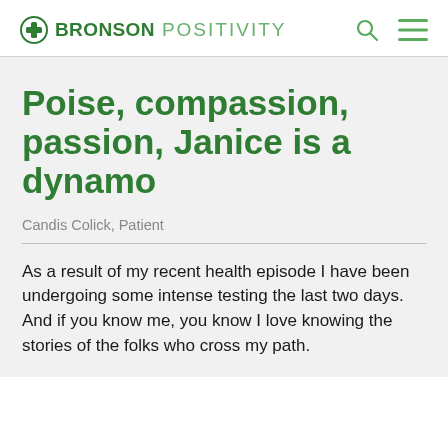BRONSON POSITIVITY
Poise, compassion, passion, Janice is a dynamo
Candis Colick, Patient
As a result of my recent health episode I have been undergoing some intense testing the last two days. And if you know me, you know I love knowing the stories of the folks who cross my path.